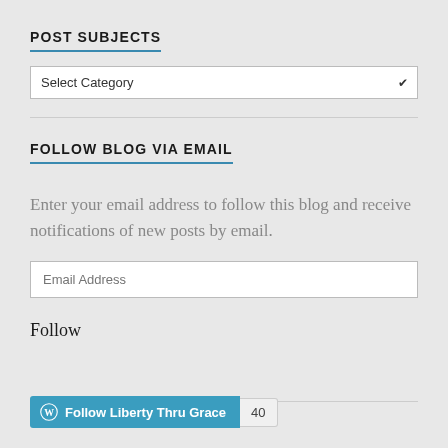POST SUBJECTS
[Figure (screenshot): A dropdown/select box labeled 'Select Category']
FOLLOW BLOG VIA EMAIL
Enter your email address to follow this blog and receive notifications of new posts by email.
[Figure (screenshot): An email input field with placeholder text 'Email Address']
Follow
[Figure (screenshot): WordPress Follow Liberty Thru Grace button with count 40]